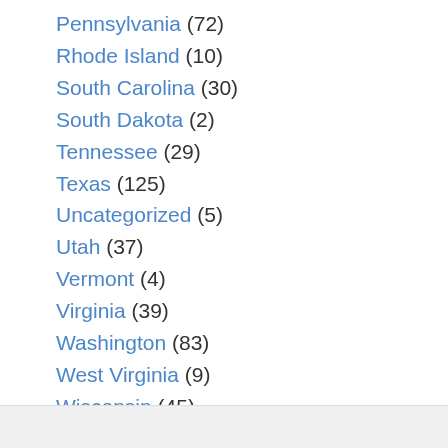Pennsylvania (72)
Rhode Island (10)
South Carolina (30)
South Dakota (2)
Tennessee (29)
Texas (125)
Uncategorized (5)
Utah (37)
Vermont (4)
Virginia (39)
Washington (83)
West Virginia (9)
Wisconsin (45)
Wyoming (4)